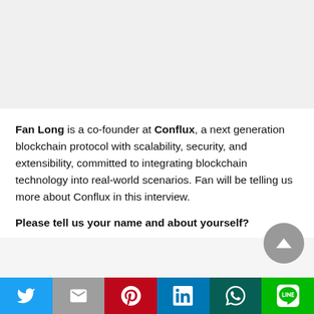[Figure (photo): Top image area (gray/empty placeholder region)]
Fan Long is a co-founder at Conflux, a next generation blockchain protocol with scalability, security, and extensibility, committed to integrating blockchain technology into real-world scenarios. Fan will be telling us more about Conflux in this interview.
Please tell us your name and about yourself?